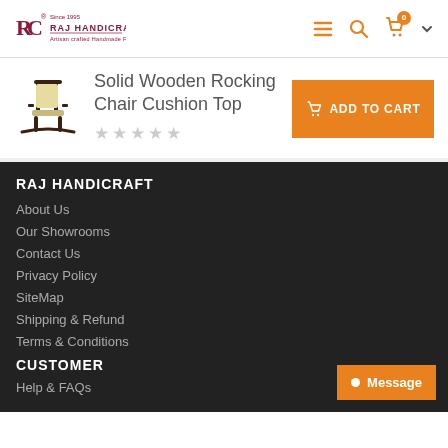Raj Handicraft — navigation header with logo, menu, search, and cart icons
[Figure (logo): Raj Handicraft logo with RC monogram and tagline]
[Figure (illustration): Solid Wooden Rocking Chair product thumbnail image]
Solid Wooden Rocking Chair Cushion Top
[Figure (other): 5 empty star rating icons (0 out of 5 stars)]
ADD TO CART
RAJ HANDICRAFT
About Us
Our Showrooms
Contact Us
Privacy Policy
SiteMap
Shipping & Refund
Terms & Conditions
CUSTOMER
Help & FAQs
Message